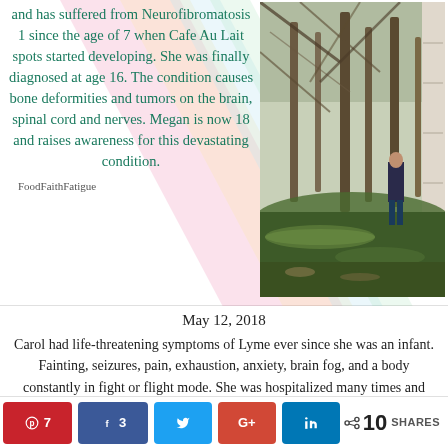and has suffered from Neurofibromatosis 1 since the age of 7 when Cafe Au Lait spots started developing. She was finally diagnosed at age 16. The condition causes bone deformities and tumors on the brain, spinal cord and nerves. Megan is now 18 and raises awareness for this devastating condition.
FoodFaithFatigue
[Figure (photo): A person standing in a mossy woodland forest with bare trees and fallen logs covered in green moss.]
May 12, 2018
Carol had life-threatening symptoms of Lyme ever since she was an infant. Fainting, seizures, pain, exhaustion, anxiety, brain fog, and a body constantly in fight or flight mode. She was hospitalized many times and her kidneys shut down. Finally, 54 years later, she has been diagnosed with Lyme. She now raises awareness for this common vet wa